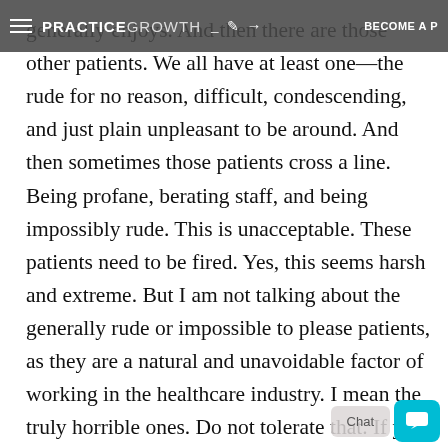PRACTICE GROWTH (navigation bar with menu, icons, BECOME A P...)
generally enjoys. And then there are those other patients. We all have at least one—the rude for no reason, difficult, condescending, and just plain unpleasant to be around. And then sometimes those patients cross a line. Being profane, berating staff, and being impossibly rude. This is unacceptable. These patients need to be fired. Yes, this seems harsh and extreme. But I am not talking about the generally rude or impossible to please patients, as they are a natural and unavoidable factor of working in the healthcare industry. I mean the truly horrible ones. Do not tolerate that. If you permit this type of behavior towards your staff, it will demoralize them fast. Stand up for your employees and make sure they know that you have their back. Tell them that they do not have to tolerate being treated like that.